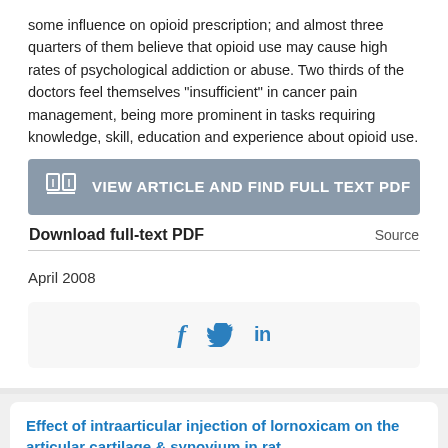some influence on opioid prescription; and almost three quarters of them believe that opioid use may cause high rates of psychological addiction or abuse. Two thirds of the doctors feel themselves "insufficient" in cancer pain management, being more prominent in tasks requiring knowledge, skill, education and experience about opioid use.
[Figure (other): Button: VIEW ARTICLE AND FIND FULL TEXT PDF with book icon]
| Download full-text PDF | Source |
| --- | --- |
April 2008
[Figure (other): Social share icons: Facebook (f), Twitter (bird), LinkedIn (in)]
Effect of intraarticular injection of lornoxicam on the articular cartilage & synovium in rat.
AUTHORS: